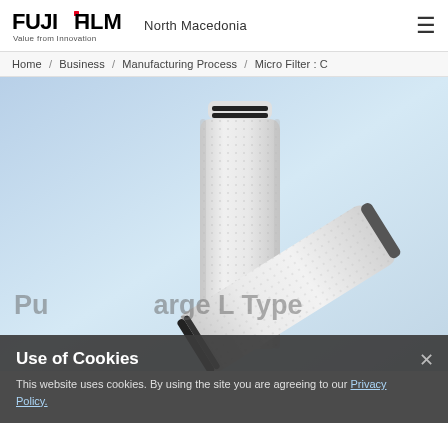FUJIFILM Value from Innovation | North Macedonia
Home / Business / Manufacturing Process / Micro Filter : C
[Figure (photo): Two white cylindrical micro filter cartridges with black O-ring seals on a light blue gradient background. One cartridge stands vertically and one leans diagonally.]
Use of Cookies
This website uses cookies. By using the site you are agreeing to our Privacy Policy.
Pu... arge L Type